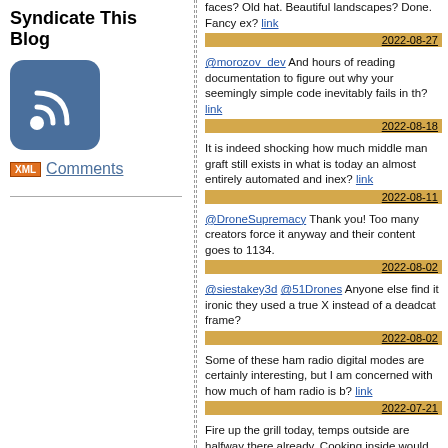Syndicate This Blog
[Figure (logo): RSS feed icon: blue rounded square with white wifi/signal waves]
[XML] Comments
faces? Old hat. Beautiful landscapes? Done. Fancy ex? link 2022-08-27
@morozov_dev And hours of reading documentation to figure out why your seemingly simple code inevitably fails in th? link 2022-08-18
It is indeed shocking how much middle man graft still exists in what is today an almost entirely automated and inex? link 2022-08-11
@DroneSupremacy Thank you! Too many creators force it anyway and their content goes to 1134. 2022-08-02
@siestakey3d @51Drones Anyone else find it ironic they used a true X instead of a deadcat frame? 2022-08-02
Some of these ham radio digital modes are certainly interesting, but I am concerned with how much of ham radio is b? link 2022-07-21
Fire up the grill today, temps outside are halfway there already. Cooking inside would be a waste of all that fine heat.